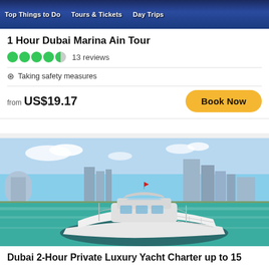Top Things to Do   Tours & Tickets   Day Trips
1 Hour Dubai Marina Ain Tour
13 reviews
Taking safety measures
from US$19.17
Book Now
[Figure (photo): White luxury yacht on turquoise water with Dubai city skyline in background]
Dubai 2-Hour Private Luxury Yacht Charter up to 15